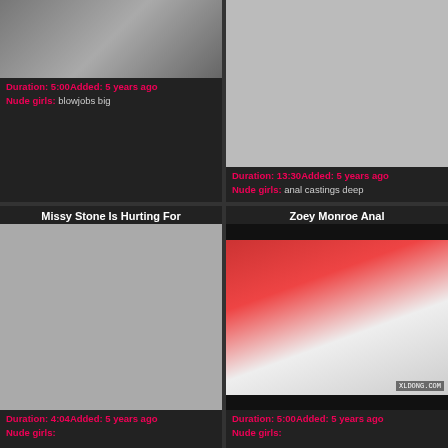[Figure (photo): Top-left video thumbnail showing a person]
Duration: 5:00Added: 5 years ago
Nude girls: blowjobs big
[Figure (photo): Top-right video thumbnail, gray placeholder]
Duration: 13:30Added: 5 years ago
Nude girls: anal castings deep
Missy Stone Is Hurting For
Zoey Monroe Anal
[Figure (photo): Gray placeholder thumbnail for Missy Stone]
[Figure (photo): Video thumbnail showing blonde person in red top, xldong.com watermark]
Duration: 4:04Added: 5 years ago
Nude girls:
Duration: 5:00Added: 5 years ago
Nude girls:
Keisha Grey monster cock butt
Tiffany Mynx Vs BBC